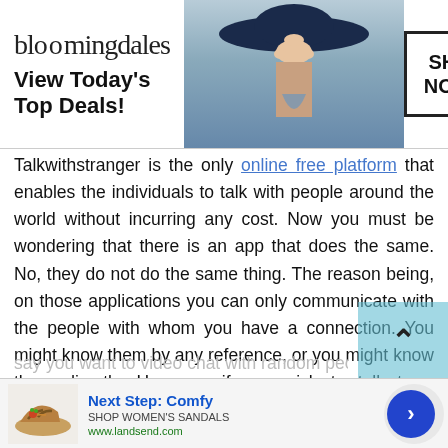[Figure (screenshot): Bloomingdale's top banner ad: logo, 'View Today's Top Deals!' tagline, model in wide-brim hat, SHOP NOW button]
Talkwithstranger is the only online free platform that enables the individuals to talk with people around the world without incurring any cost. Now you must be wondering that there is an app that does the same. No, they do not do the same thing. The reason being, on those applications you can only communicate with the people with whom you have a connection. You might know them by any reference, or you might know them directly. However, if you wish to talk to a stranger through those platforms,
[Figure (screenshot): Bottom ad banner: Next Step: Comfy, SHOP WOMEN'S SANDALS, www.landsend.com with sandal image and next arrow button]